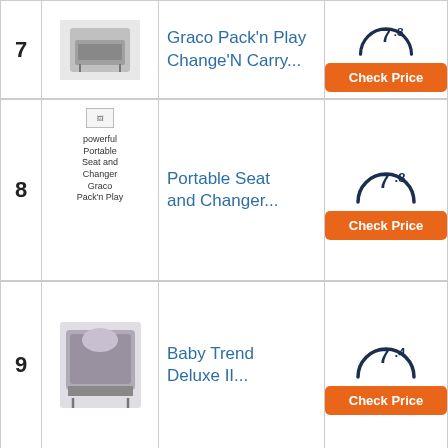| # | Image/Name | Product | Score/Action |
| --- | --- | --- | --- |
| 7 | Graco Pack'n Play Change'N Carry image | Graco Pack'n Play Change'N Carry... | 7.8 / Check Price |
| 8 | Portable Seat and Changer Graco Pack'n Play | Portable Seat and Changer... | 7.8 / Check Price |
| 9 | Baby Trend Deluxe II image | Baby Trend Deluxe II... | 7.4 / Check Price |
| 10 | Play Moto G7 image | Play Moto G7 | | 7.1 / Check Price |